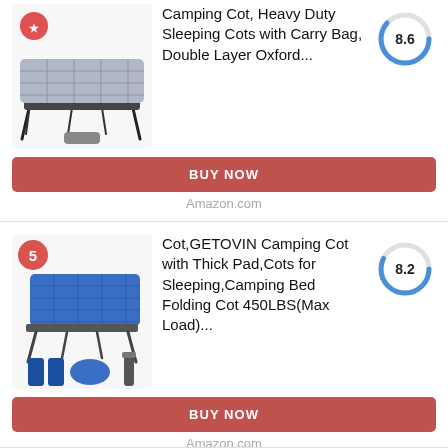[Figure (photo): Camping cot with gray sleeping pad on dark metal frame, shown from slight angle]
Camping Cot, Heavy Duty Sleeping Cots with Carry Bag, Double Layer Oxford...
[Figure (donut-chart): Donut chart showing score 8.6, blue arc on gray circle]
BUY NOW
Amazon.com
[Figure (photo): Blue camping cot with thick pad, folding legs, shown with accessories; numbered badge 5]
Cot,GETOVIN Camping Cot with Thick Pad,Cots for Sleeping,Camping Bed Folding Cot 450LBS(Max Load)...
[Figure (donut-chart): Donut chart showing score 8.2, blue arc on gray circle]
BUY NOW
Amazon.com